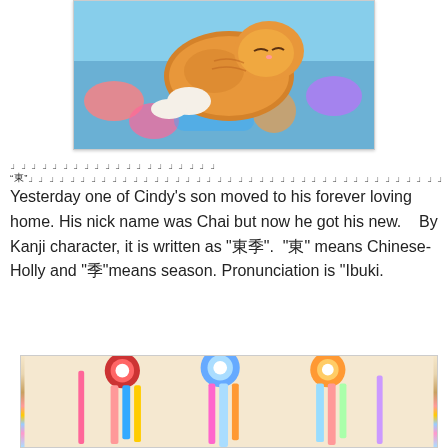[Figure (photo): Orange tabby kitten sleeping on a colorful patterned blanket, cropped view showing fluffy fur and white paws]
昨日シンディの息子の一匹が「柊」という名前をもらって新しいお家に旅立ちました。
Yesterday one of Cindy's son moved to his forever loving home. His nick name was Chai but now he got his new.  By Kanji character, it is written as "柊".  "柊" means Chinese-Holly and "季"means season. Pronunciation is "Ibuki.
[Figure (photo): Colorful cat show ribbons and rosettes hanging on a wall, pink, blue, yellow, and teal ribbons visible]